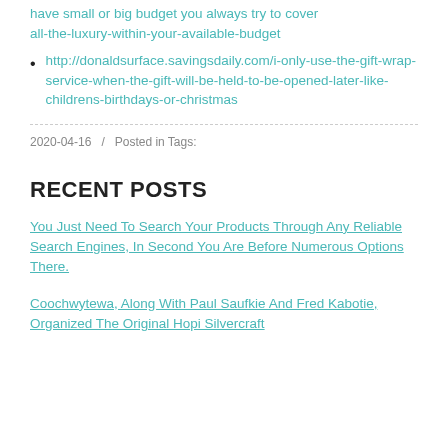have small or big budget you always try to cover all-the-luxury-within-your-available-budget
http://donaldsurface.savingsdaily.com/i-only-use-the-gift-wrap-service-when-the-gift-will-be-held-to-be-opened-later-like-childrens-birthdays-or-christmas
2020-04-16  /  Posted in Tags:
RECENT POSTS
You Just Need To Search Your Products Through Any Reliable Search Engines, In Second You Are Before Numerous Options There.
Coochwytewa, Along With Paul Saufkie And Fred Kabotie, Organized The Original Hopi Silvercraft